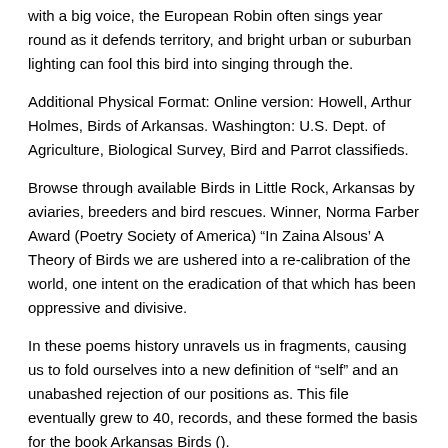with a big voice, the European Robin often sings year round as it defends territory, and bright urban or suburban lighting can fool this bird into singing through the.
Additional Physical Format: Online version: Howell, Arthur Holmes, Birds of Arkansas. Washington: U.S. Dept. of Agriculture, Biological Survey, Bird and Parrot classifieds.
Browse through available Birds in Little Rock, Arkansas by aviaries, breeders and bird rescues. Winner, Norma Farber Award (Poetry Society of America) “In Zaina Alsous’ A Theory of Birds we are ushered into a re-calibration of the world, one intent on the eradication of that which has been oppressive and divisive.
In these poems history unravels us in fragments, causing us to fold ourselves into a new definition of “self” and an unabashed rejection of our positions as. This file eventually grew to 40, records, and these formed the basis for the book Arkansas Birds ().
As curator, Doug made all decisions about what records were, or were not, acceptable. In terms of how he treated great rarities, most of the